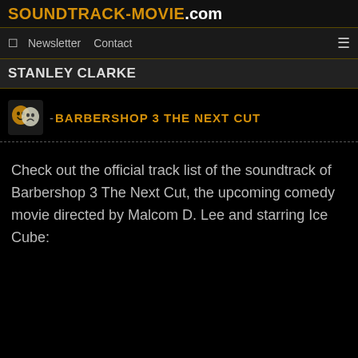SOUNDTRACK-MOVIE.com
Newsletter  Contact
STANLEY CLARKE
BARBERSHOP 3 THE NEXT CUT
Check out the official track list of the soundtrack of Barbershop 3 The Next Cut, the upcoming comedy movie directed by Malcom D. Lee and starring Ice Cube: